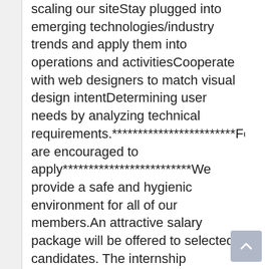scaling our siteStay plugged into emerging technologies/industry trends and apply them into operations and activitiesCooperate with web designers to match visual design intentDetermining user needs by analyzing technical requirements.************************Females are encouraged to apply*************************We provide a safe and hygienic environment for all of our members.An attractive salary package will be offered to selected candidates. The internship program is for 3 months. 10,000 BDT each month's remuneration will be provided during the program. Then the salary will be between 12,000 BDT to 20,000 BDTAlong with the salary the benefits we will provide:-1. Top of